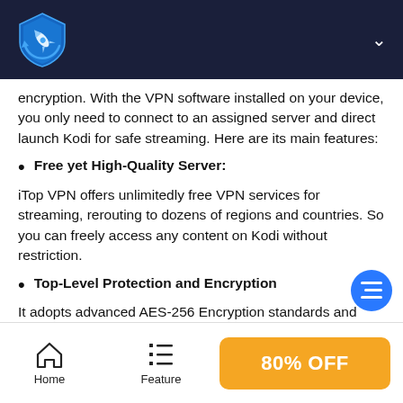[Figure (logo): iTop VPN logo — blue shield with rocket icon on dark navy header bar]
encryption. With the VPN software installed on your device, you only need to connect to an assigned server and direct launch Kodi for safe streaming. Here are its main features:
Free yet High-Quality Server:
iTop VPN offers unlimitedly free VPN services for streaming, rerouting to dozens of regions and countries. So you can freely access any content on Kodi without restriction.
Top-Level Protection and Encryption
It adopts advanced AES-256 Encryption standards and IPV6 Protocol, along with more latest privacy and security techs, to ensure waterproof safeguard when you browse on the internet.
Home   Feature   80% OFF